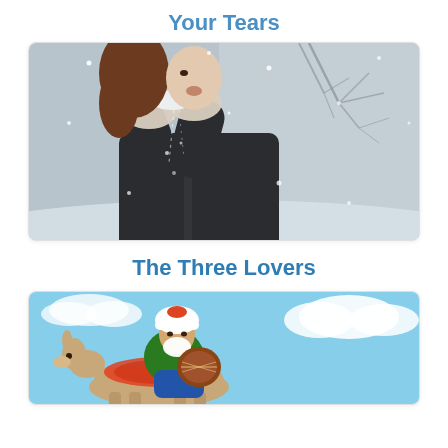Your Tears
[Figure (photo): A person in a dark winter coat holding snow in gloved hands up to their face, blowing it, with snowflakes falling around them and bare trees in the blurred background.]
The Three Lovers
[Figure (illustration): A colorful illustrated character — an elderly bearded man wearing a white turban and green outfit — riding a donkey with a blue sky and clouds in the background.]